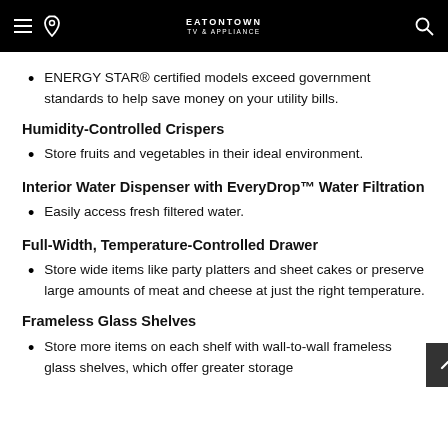EATONTOWN TV & APPLIANCE
ENERGY STAR® certified models exceed government standards to help save money on your utility bills.
Humidity-Controlled Crispers
Store fruits and vegetables in their ideal environment.
Interior Water Dispenser with EveryDrop™ Water Filtration
Easily access fresh filtered water.
Full-Width, Temperature-Controlled Drawer
Store wide items like party platters and sheet cakes or preserve large amounts of meat and cheese at just the right temperature.
Frameless Glass Shelves
Store more items on each shelf with wall-to-wall frameless glass shelves, which offer greater storage